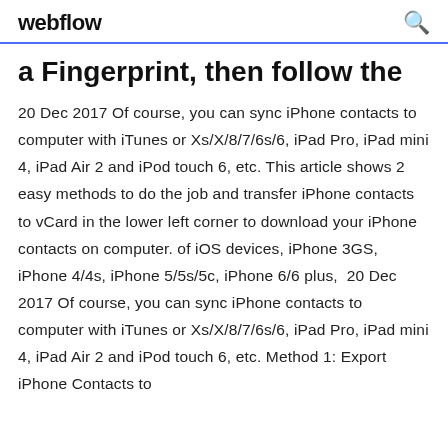webflow
a Fingerprint, then follow the
20 Dec 2017 Of course, you can sync iPhone contacts to computer with iTunes or Xs/X/8/7/6s/6, iPad Pro, iPad mini 4, iPad Air 2 and iPod touch 6, etc. This article shows 2 easy methods to do the job and transfer iPhone contacts to vCard in the lower left corner to download your iPhone contacts on computer. of iOS devices, iPhone 3GS, iPhone 4/4s, iPhone 5/5s/5c, iPhone 6/6 plus,  20 Dec 2017 Of course, you can sync iPhone contacts to computer with iTunes or Xs/X/8/7/6s/6, iPad Pro, iPad mini 4, iPad Air 2 and iPod touch 6, etc. Method 1: Export iPhone Contacts to